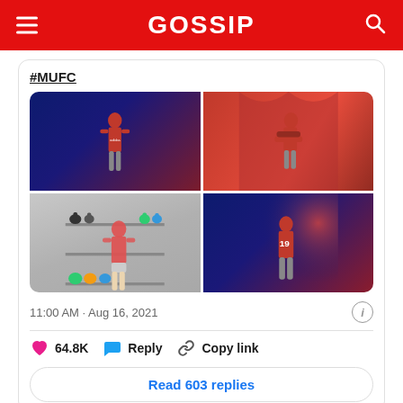GOSSIP
#MUFC
[Figure (photo): 2x2 grid of four photos showing a footballer in Manchester United red kit — top-left: player standing against dark blue/red background; top-right: player with arms crossed against red fabric; bottom-left: player in gym/weights room; bottom-right: player showing number 19 shirt from behind against dark background]
11:00 AM · Aug 16, 2021
64.8K  Reply  Copy link
Read 603 replies
Manchester United needed two things this summer: Sancho and a